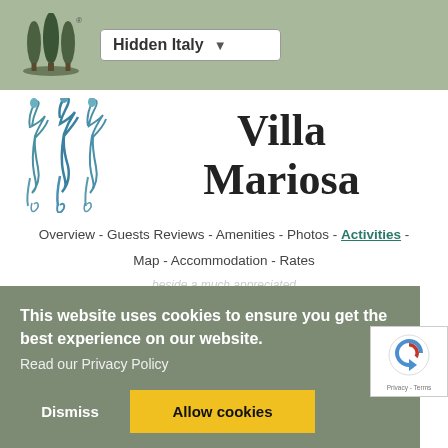[Figure (screenshot): Hidden Italy website header with logo (two cypress trees) and dropdown selector showing 'Hidden Italy']
[Figure (logo): Villa Mariosa logo: three stylized blue herons/birds with curling tails]
Villa Mariosa
Overview - Guests Reviews - Amenities - Photos - Activities - Map - Accommodation - Rates
beside a much appreciated
This website uses cookies to ensure you get the best experience on our website. Read our Privacy Policy
Dismiss
Allow cookies
[Figure (logo): Google reCAPTCHA badge with spinning recaptcha icon and 'Privacy - Terms' text]
utterly beautiful late Baroque